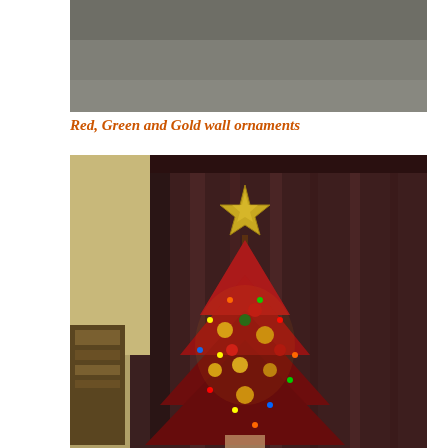[Figure (photo): A dark, dimly lit room with a gray wall visible at the top portion of the photo, appearing to be an indoor scene with muted tones.]
Red, Green and Gold wall ornaments
[Figure (photo): A decorated Christmas tree with a gold star topper, red tinsel, multicolored ornaments and lights, set against dark maroon curtains in a home interior.]